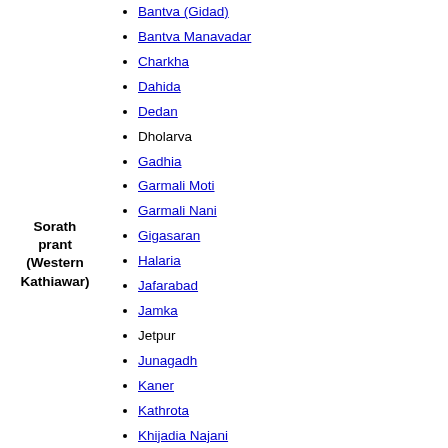Sorath prant (Western Kathiawar)
Bantva (Gidad)
Bantva Manavadar
Charkha
Dahida
Dedan
Dholarva
Gadhia
Garmali Moti
Garmali Nani
Gigasaran
Halaria
Jafarabad
Jamka
Jetpur
Junagadh
Kaner
Kathrota
Khijadia Najani
Kuba
Lakhapadar
Manavav
Monvel
Porbandar
Silana
Vaghvadi